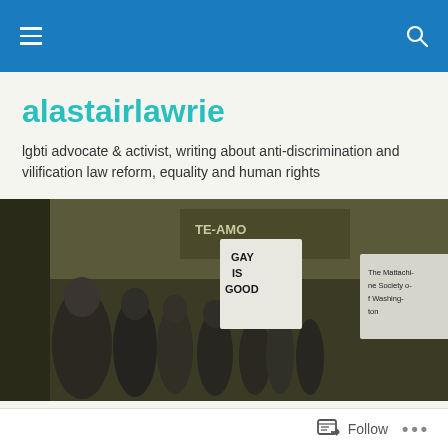alastairlawrie – navigation bar
alastairlawrie
lgbti advocate & activist, writing about anti-discrimination and vilification law reform, equality and human rights
[Figure (photo): Black and white photograph showing two panels of gay rights protest scenes. Left panel: crowd of protesters, one holding a sign reading 'GAY IS GOOD', another holding a sign reading 'The Mattachine Society of Washington'. Right panel: people near a storefront sign reading 'GAY RIGHTS EMBASSY' with another partially visible sign reading 'INTERNA GAY SOL...']
TAGGED WITH MANUS ISLAND
Homosexual acts
Follow